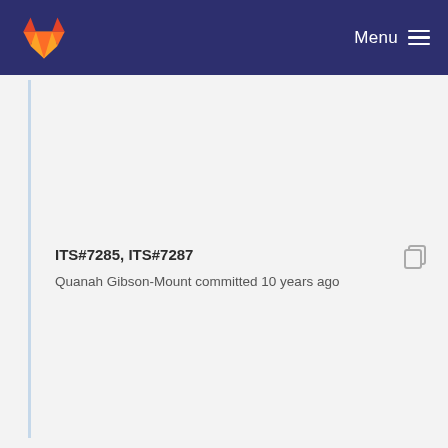Menu
ITS#7285, ITS#7287
Quanah Gibson-Mount committed 10 years ago